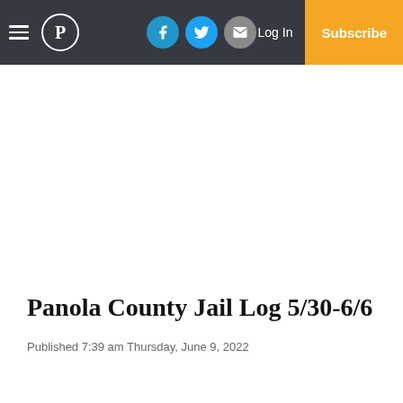Panola County Jail Log — Navigation bar with hamburger menu, P logo, social icons (Facebook, Twitter, Email), Log In, Subscribe
Panola County Jail Log 5/30-6/6
Published 7:39 am Thursday, June 9, 2022